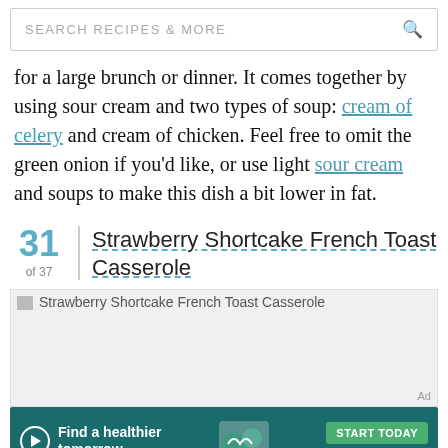SEARCH RECIPES & MORE
for a large brunch or dinner. It comes together by using sour cream and two types of soup: cream of celery and cream of chicken. Feel free to omit the green onion if you'd like, or use light sour cream and soups to make this dish a bit lower in fat.
31 of 37 Strawberry Shortcake French Toast Casserole
[Figure (photo): Placeholder image for Strawberry Shortcake French Toast Casserole]
[Figure (infographic): Advertisement banner: Find a healthier tomorrow. START TODAY. everlywell.]